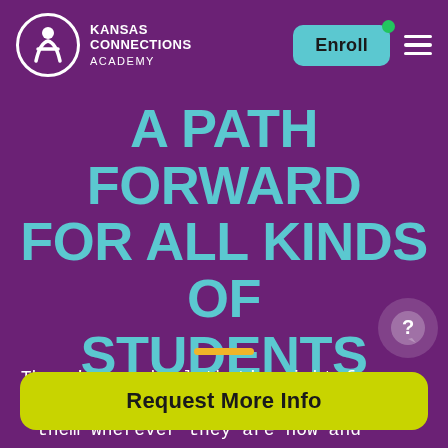[Figure (logo): Kansas Connections Academy logo — white circle with stylized figure, white text reading KANSAS CONNECTIONS ACADEMY]
A PATH FORWARD FOR ALL KINDS OF STUDENTS
There’s a school that’s right for your child. One that will meet them wherever they are now and help them get to wherever they want to be.
Request More Info